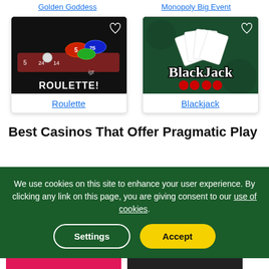Golden Goddess
Monopoly Big Event
[Figure (screenshot): Roulette casino game thumbnail: dark background with roulette chips and ball, text 'ROULETTE!' and IGT logo]
Roulette
[Figure (screenshot): Blackjack casino game thumbnail: green felt background with playing cards fan and 'BlackJack' text logo]
Blackjack
Best Casinos That Offer Pragmatic Play
We use cookies on this site to enhance your user experience. By clicking any link on this page, you are giving consent to our use of cookies.
Settings
Accept